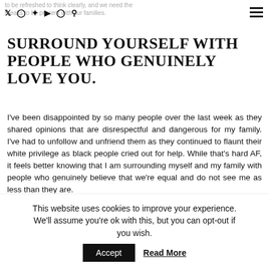to be refreshed to think clearly, and we need the breaks to be present with our families.
SURROUND YOURSELF WITH PEOPLE WHO GENUINELY LOVE YOU.
I've been disappointed by so many people over the last week as they shared opinions that are disrespectful and dangerous for my family. I've had to unfollow and unfriend them as they continued to flaunt their white privilege as black people cried out for help. While that's hard AF, it feels better knowing that I am surrounding myself and my family with people who genuinely believe that we're equal and do not see me as less than they are.
This website uses cookies to improve your experience. We'll assume you're ok with this, but you can opt-out if you wish.  Accept  Read More